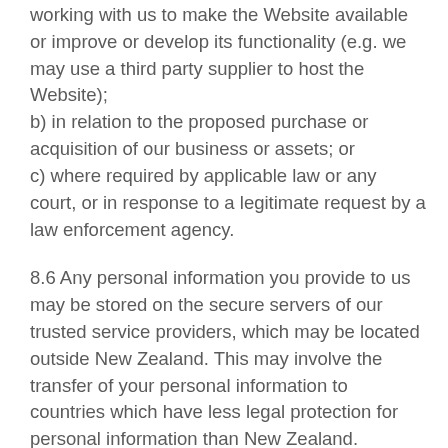working with us to make the Website available or improve or develop its functionality (e.g. we may use a third party supplier to host the Website); b) in relation to the proposed purchase or acquisition of our business or assets; or c) where required by applicable law or any court, or in response to a legitimate request by a law enforcement agency.
8.6 Any personal information you provide to us may be stored on the secure servers of our trusted service providers, which may be located outside New Zealand. This may involve the transfer of your personal information to countries which have less legal protection for personal information than New Zealand.
8.7 You have the right to access, correct and...